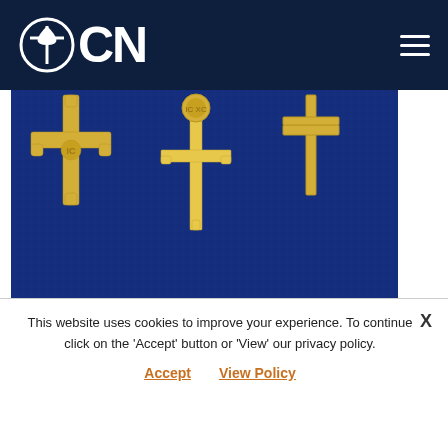OCN
[Figure (photo): Gallery Byzantium advertisement showing gold Orthodox crosses on blue fabric background with text 'Gallery Byzantium – Exquisite Jewelry From Ancient Designs']
f
Related Posts
This website uses cookies to improve your experience. To continue click on the 'Accept' button or 'View' our privacy policy.
Accept   View Policy